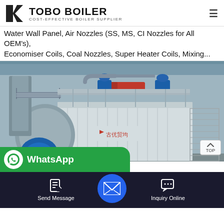TOBO BOILER — COST-EFFECTIVE BOILER SUPPLIER
Water Wall Panel, Air Nozzles (SS, MS, CI Nozzles for All OEM's), Economiser Coils, Coal Nozzles, Super Heater Coils, Mixing...
[Figure (photo): Industrial gas/steam boiler (grey/white casing) with blue burner motor at front left, piping overhead, metal walkways and staircase, red Chinese characters on casing. Indoor industrial facility.]
WhatsApp
ale   pliers/Manufacturers
Send Message
Inquiry Online